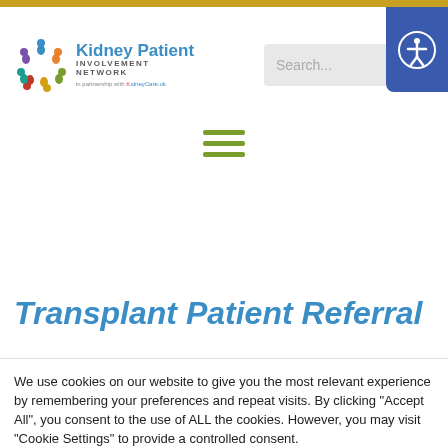[Figure (logo): Kidney Patient Involvement Network logo with colorful figures in a circle and KidneyCare.uk partnership text]
[Figure (screenshot): Search bar with grey input field and green search button icon]
[Figure (screenshot): Blue accessibility icon button (person with arms outstretched in circle)]
[Figure (screenshot): Green hamburger menu icon (three horizontal lines)]
Transplant Patient Referral
We use cookies on our website to give you the most relevant experience by remembering your preferences and repeat visits. By clicking "Accept All", you consent to the use of ALL the cookies. However, you may visit "Cookie Settings" to provide a controlled consent.
Cookie Settings | Accept All